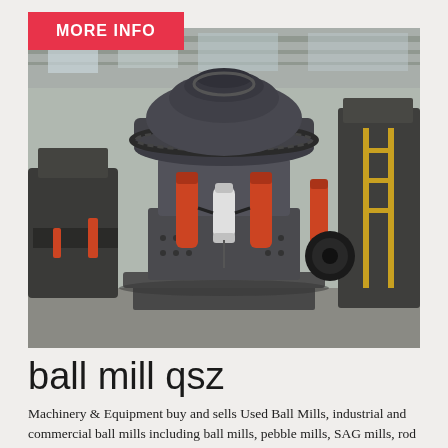MORE INFO
[Figure (photo): Industrial cone crusher machine on a factory floor, with orange hydraulic cylinders, large gear ring, and a white canister, inside a warehouse with other heavy machinery in the background.]
ball mill qsz
Machinery & Equipment buy and sells Used Ball Mills, industrial and commercial ball mills including ball mills, pebble mills, SAG mills, rod mills and more »